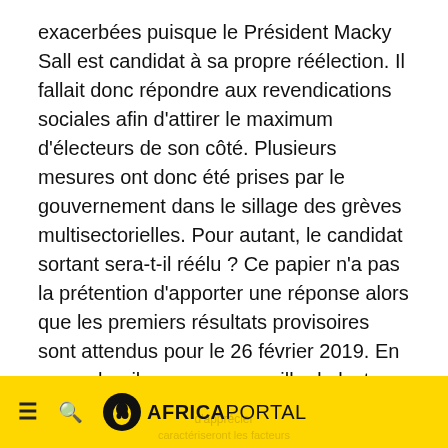exacerbées puisque le Président Macky Sall est candidat à sa propre réélection. Il fallait donc répondre aux revendications sociales afin d'attirer le maximum d'électeurs de son côté. Plusieurs mesures ont donc été prises par le gouvernement dans le sillage des grèves multisectorielles. Pour autant, le candidat sortant sera-t-il réélu ? Ce papier n'a pas la prétention d'apporter une réponse alors que les premiers résultats provisoires sont attendus pour le 26 février 2019. En revanche, il propose une grille de lecture permettant d'apprécier les éléments qui caractériseront les prochaines élections. Au-delà d'un tour d'horizons des
≡  🔍  AFRICAPORTAL